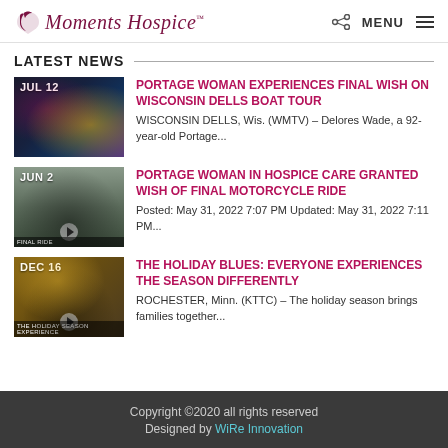Moments Hospice™ | MENU
LATEST NEWS
[Figure (photo): News broadcast thumbnail dated JUL 12]
PORTAGE WOMAN EXPERIENCES FINAL WISH ON WISCONSIN DELLS BOAT TOUR
WISCONSIN DELLS, Wis. (WMTV) – Delores Wade, a 92-year-old Portage...
[Figure (photo): Video thumbnail of person dated JUN 2 with FINAL RIDE label]
PORTAGE WOMAN IN HOSPICE CARE GRANTED WISH OF FINAL MOTORCYCLE RIDE
Posted: May 31, 2022 7:07 PM Updated: May 31, 2022 7:11 PM...
[Figure (photo): Outdoor holiday scene thumbnail dated DEC 16]
THE HOLIDAY BLUES: EVERYONE EXPERIENCES THE SEASON DIFFERENTLY
ROCHESTER, Minn. (KTTC) – The holiday season brings families together...
Copyright ©2020 all rights reserved
Designed by WiRe Innovation